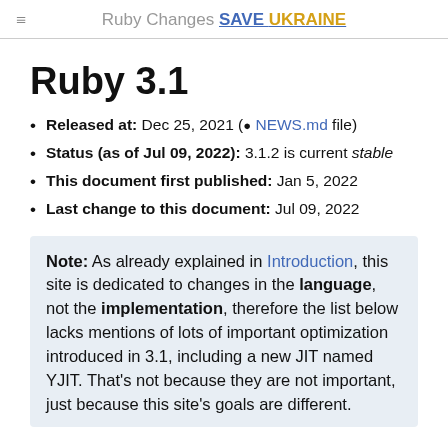≡  Ruby Changes SAVE UKRAINE
Ruby 3.1
Released at: Dec 25, 2021 ( NEWS.md file)
Status (as of Jul 09, 2022): 3.1.2 is current stable
This document first published: Jan 5, 2022
Last change to this document: Jul 09, 2022
Note: As already explained in Introduction, this site is dedicated to changes in the language, not the implementation, therefore the list below lacks mentions of lots of important optimization introduced in 3.1, including a new JIT named YJIT. That's not because they are not important, just because this site's goals are different.